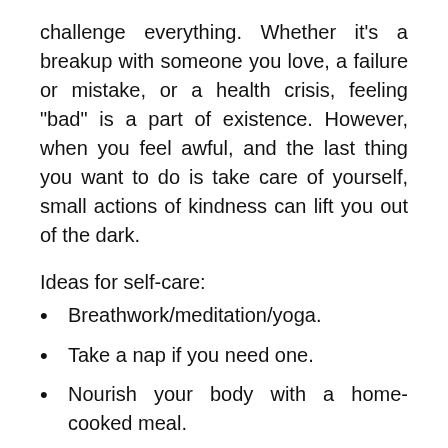challenge everything. Whether it's a breakup with someone you love, a failure or mistake, or a health crisis, feeling "bad" is a part of existence. However, when you feel awful, and the last thing you want to do is take care of yourself, small actions of kindness can lift you out of the dark.
Ideas for self-care:
Breathwork/meditation/yoga.
Take a nap if you need one.
Nourish your body with a home-cooked meal.
Connect with a cherished friend or